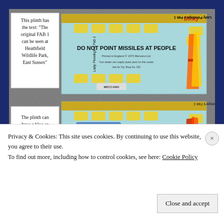[Figure (photo): Two Dinky Toys 'Lady Penelope's Fab 1' boxes displayed side by side on a grey textured background. Each box is light blue with yellow vehicle decorations and missile imagery. Top box has a white annotation label reading 'This plinth has the text: "The original FAB 1 can be seen at Heathfield Wildlife Park, East Sussex"'. Both boxes show 'DO NOT POINT MISSILES AT PEOPLE' text. Bottom box has annotation 'The plinth can have a blue or white Missile Firing Toy warning sticker'. The top box also shows the Dinky logo in red.]
Privacy & Cookies: This site uses cookies. By continuing to use this website, you agree to their use.
To find out more, including how to control cookies, see here: Cookie Policy
Close and accept